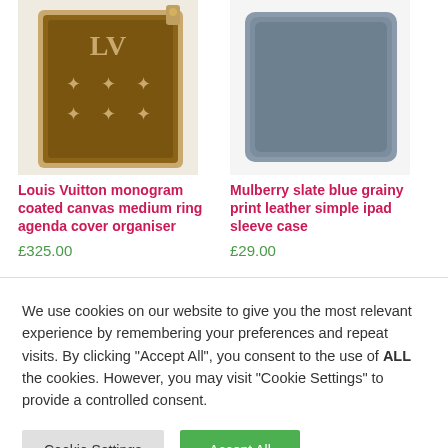[Figure (photo): Louis Vuitton monogram coated canvas medium ring agenda cover organiser product photo]
[Figure (photo): Mulberry slate blue grainy print leather simple ipad sleeve case product photo]
Louis Vuitton monogram coated canvas medium ring agenda cover organiser
£325.00
Mulberry slate blue grainy print leather simple ipad sleeve case
£29.00
We use cookies on our website to give you the most relevant experience by remembering your preferences and repeat visits. By clicking "Accept All", you consent to the use of ALL the cookies. However, you may visit "Cookie Settings" to provide a controlled consent.
Cookie Settings
Accept All